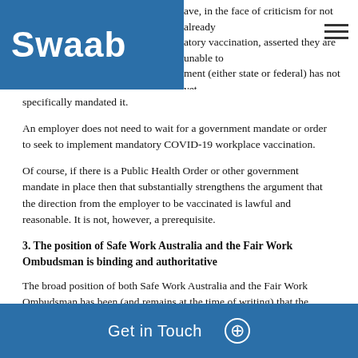Swaab — ave, in the face of criticism for not already atory vaccination, asserted they are unable to ment (either state or federal) has not yet
specifically mandated it.
An employer does not need to wait for a government mandate or order to seek to implement mandatory COVID-19 workplace vaccination.
Of course, if there is a Public Health Order or other government mandate in place then that substantially strengthens the argument that the direction from the employer to be vaccinated is lawful and reasonable. It is not, however, a prerequisite.
3. The position of Safe Work Australia and the Fair Work Ombudsman is binding and authoritative
The broad position of both Safe Work Australia and the Fair Work Ombudsman has been (and remains at the time of writing) that the overwhelming majority of employers cannot mandate COVID-19 vaccination for their staff. This has been cited by some as an incontrovertible truth, vastly overstating the legal significance of the views of these agencies.
The information provided by Safe Work Australia and Fair Work Ombudsman in relation to mandatory vaccination is by way of gu... the...
Get in Touch ⊕